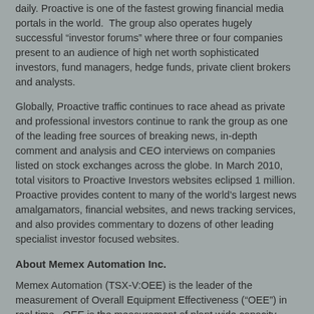daily. Proactive is one of the fastest growing financial media portals in the world.  The group also operates hugely successful “investor forums” where three or four companies present to an audience of high net worth sophisticated investors, fund managers, hedge funds, private client brokers and analysts.
Globally, Proactive traffic continues to race ahead as private and professional investors continue to rank the group as one of the leading free sources of breaking news, in-depth comment and analysis and CEO interviews on companies listed on stock exchanges across the globe. In March 2010, total visitors to Proactive Investors websites eclipsed 1 million.  Proactive provides content to many of the world’s largest news amalgamators, financial websites, and news tracking services, and also provides commentary to dozens of other leading specialist investor focused websites.
About Memex Automation Inc.
Memex Automation (TSX-V:OEE) is the leader of the measurement of Overall Equipment Effectiveness (“OEE”) in real time. OEE is the measurement of plant wide capacity…